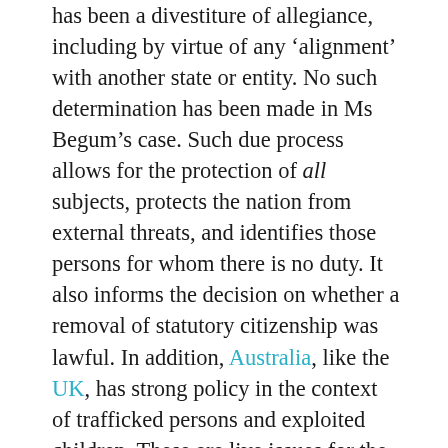has been a divestiture of allegiance, including by virtue of any 'alignment' with another state or entity. No such determination has been made in Ms Begum's case. Such due process allows for the protection of all subjects, protects the nation from external threats, and identifies those persons for whom there is no duty. It also informs the decision on whether a removal of statutory citizenship was lawful. In addition, Australia, like the UK, has strong policy in the context of trafficked persons and exploited children. These are live issues for the women and children in Syrian camps. It is our view that there could be significant arguments